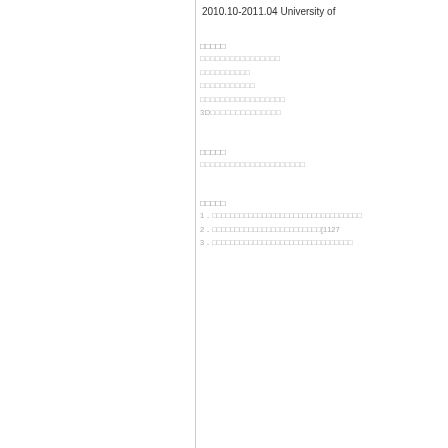2010.10-2011.04 University of
□□□□□
□□□□□□□□□□□□□□□□
□□□□□□□□□□
□□□□□□□□□□□
□□□□□□□□□□□□□□□□□
3D□□□□□□□□□□□□□□
□□□□□
□□□□□□□□□□□□□□□□□□□□□
□□□□□
1．□□□□□□□□□□□□□□□□□□□□□□□□□□□□□□□□□
2．□□□□□□□□□□□□□□□□□□□□□□□□[1127
3．□□□□□□□□□□□□□□□□□□□□□□□□□□□□□□□